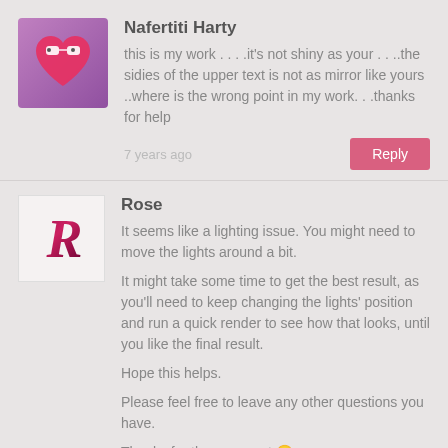Nafertiti Harty
this is my work . . . .it's not shiny as your . . ..the sidies of the upper text is not as mirror like yours ..where is the wrong point in my work. . .thanks for help
7 years ago
Reply
Rose
It seems like a lighting issue. You might need to move the lights around a bit.
It might take some time to get the best result, as you'll need to keep changing the lights' position and run a quick render to see how that looks, until you like the final result.
Hope this helps.
Please feel free to leave any other questions you have.
Thanks for the comment 🙂
7 years ago
Reply